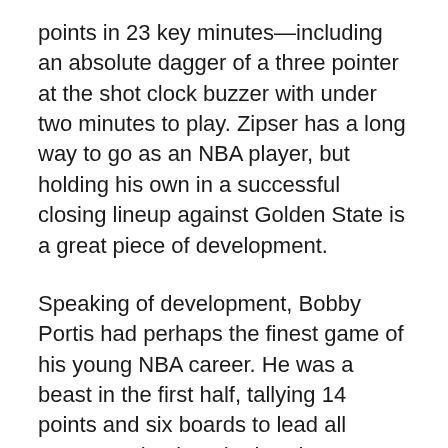points in 23 key minutes—including an absolute dagger of a three pointer at the shot clock buzzer with under two minutes to play. Zipser has a long way to go as an NBA player, but holding his own in a successful closing lineup against Golden State is a great piece of development.
Speaking of development, Bobby Portis had perhaps the finest game of his young NBA career. He was a beast in the first half, tallying 14 points and six boards to lead all scorers going into the break. He finished with a double-double and minimized on defensive miscues, posting a game-high +22 overall. Portis has a huge opportunity with Taj Gibson out of the picture; more games like this would be quite encouraging.
The Bulls did a good job scrapping together successful